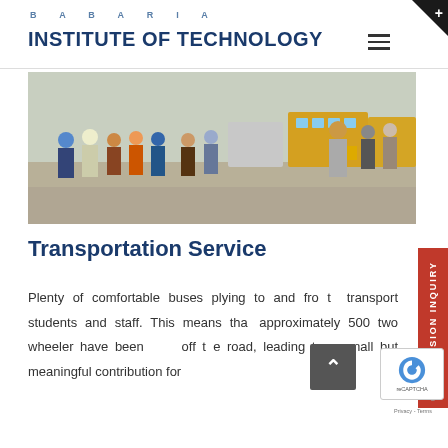BABARIA INSTITUTE OF TECHNOLOGY
[Figure (photo): Crowd of students and staff outside near buses and vehicles, outdoor daytime scene]
Transportation Service
Plenty of comfortable buses plying to and fro to transport students and staff. This means that approximately 500 two wheeler have been kept off the road, leading to a small but meaningful contribution for reducing the environment. This adds to the efforts of